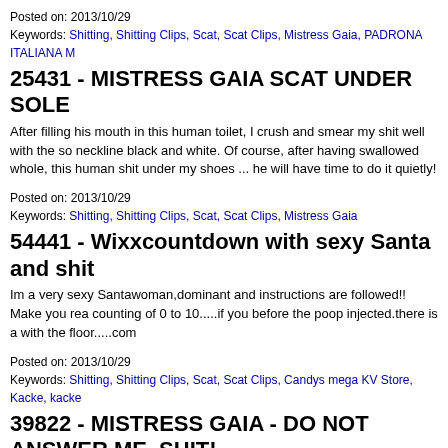Posted on: 2013/10/29
Keywords: Shitting, Shitting Clips, Scat, Scat Clips, Mistress Gaia, PADRONA ITALIANA M
25431 - MISTRESS GAIA SCAT UNDER SOLE
After filling his mouth in this human toilet, I crush and smear my shit well with the so neckline black and white. Of course, after having swallowed whole, this human shit under my shoes ... he will have time to do it quietly!
Posted on: 2013/10/29
Keywords: Shitting, Shitting Clips, Scat, Scat Clips, Mistress Gaia
54441 - Wixxcountdown with sexy Santa and shit
Im a very sexy Santawoman,dominant and instructions are followed!! Make you rea counting of 0 to 10.....if you before the poop injected.there is a with the floor.....com
Posted on: 2013/10/29
Keywords: Shitting, Shitting Clips, Scat, Scat Clips, Candys mega KV Store, Kacke, kacke
39822 - MISTRESS GAIA - DO NOT ANSWER ME, SHIT!
A hard lesson awaits my bitch, the habit of answering me always, always have the behavior for a private slave.She will have to take all the shit in the face and suffer a
Posted on: 2013/10/29
Keywords: Shitting, Shitting Clips, Scat, Scat Clips, Mistress Gaia
26990 - MISTRESS GAIA SCAT AFTER GYM
I just finished working out and I'm all sweaty. The room is invaded by the wonderful my smelly and sweaty socks ... but I decided to add another sweet fragrance scent